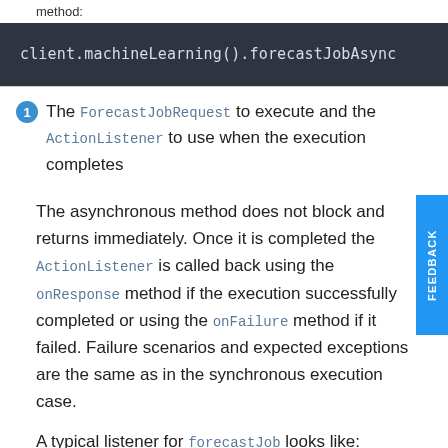method:
client.machineLearning().forecastJobAsync
The ForecastJobRequest to execute and the ActionListener to use when the execution completes
The asynchronous method does not block and returns immediately. Once it is completed the ActionListener is called back using the onResponse method if the execution successfully completed or using the onFailure method if it failed. Failure scenarios and expected exceptions are the same as in the synchronous execution case.
A typical listener for forecastJob looks like: